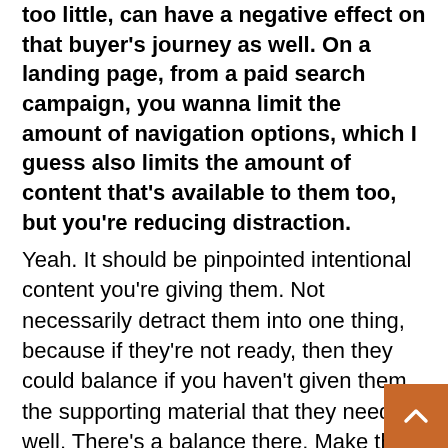too little, can have a negative effect on that buyer's journey as well. On a landing page, from a paid search campaign, you wanna limit the amount of navigation options, which I guess also limits the amount of content that's available to them too, but you're reducing distraction.
Yeah. It should be pinpointed intentional content you're giving them. Not necessarily detract them into one thing, because if they're not ready, then they could balance if you haven't given them the supporting material that they need as well. There's a balance there. Make them feel like they have the choice in what kind of content they're looking at, bu...